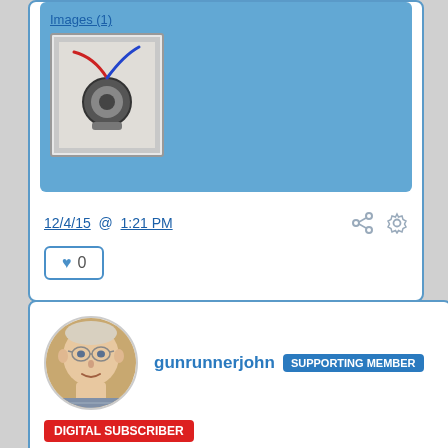[Figure (photo): Thumbnail image of an electrical component (appears to be a thermostat or switch with red and blue wires attached)]
12/4/15 @ 1:21 PM
[Figure (other): Like button showing heart icon and count 0]
[Figure (photo): Profile photo of gunrunnerjohn, an older man with glasses]
gunrunnerjohn  SUPPORTING MEMBER
DIGITAL SUBSCRIBER
Doing twelve of these as opposed to plugging in a couple of variacs seems like a really easy decision! By the time you modify twelve transformers, you